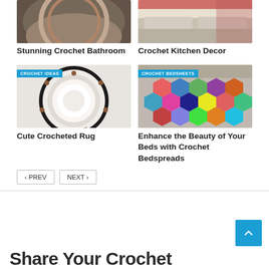[Figure (photo): Circular crochet bathroom rug with floral patterns, top portion visible]
Stunning Crochet Bathroom
[Figure (photo): Kitchen counter with crochet decor items in red and white]
Crochet Kitchen Decor
[Figure (photo): Cute crocheted round rug with dark border and floral pattern, labeled CROCHET IDEAS]
Cute Crocheted Rug
[Figure (photo): Colorful hexagonal crochet bedspread on a bed, labeled CROCHET BEDSHEETS]
Enhance the Beauty of Your Beds with Crochet Bedspreads
< PREV   NEXT >
Share Your Crochet